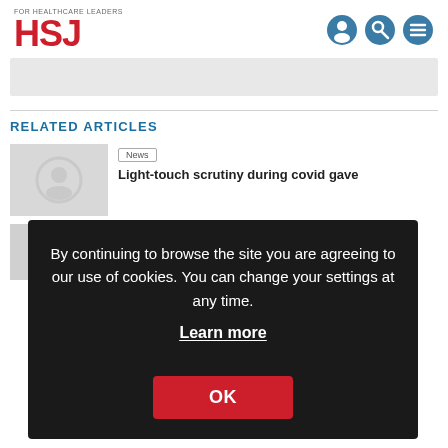FOR HEALTHCARE LEADERS HSJ
[Figure (screenshot): HSJ website header with logo and navigation icons (person, search, menu)]
RELATED ARTICLES
News
Light-touch scrutiny during covid gave
23 August 2022
By continuing to browse the site you are agreeing to our use of cookies. You can change your settings at any time. Learn more OK